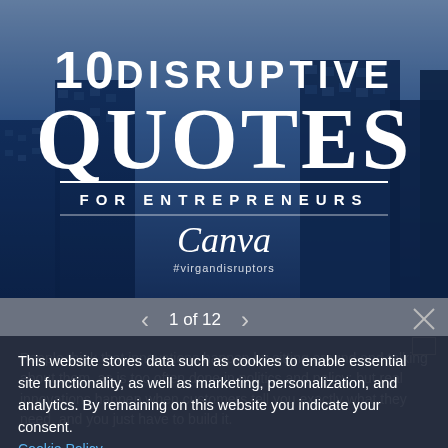[Figure (illustration): Canva promotional image with city building background in blue tones. Large white text reads '10 DISRUPTIVE QUOTES FOR ENTREPRENEURS' with Canva logo and #virgandisruptors hashtag.]
1 of 12
People think that innovations happen by sitting around and talking about them, as is too often done in politics and policy; but real innovations happen when customers tell you exactly what they need, and you just have to build it.
This website stores data such as cookies to enable essential site functionality, as well as marketing, personalization, and analytics. By remaining on this website you indicate your consent.
Cookie Policy